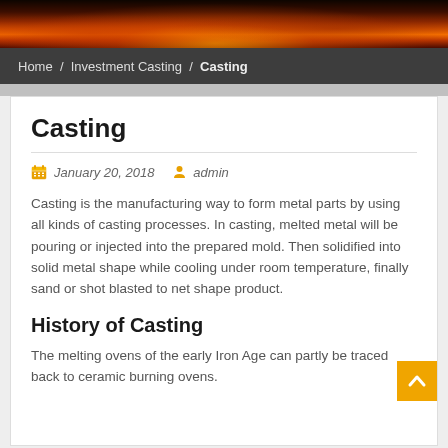[Figure (photo): Header image showing molten lava or fire in dark reddish tones]
Home / Investment Casting / Casting
Casting
January 20, 2018  admin
Casting is the manufacturing way to form metal parts by using all kinds of casting processes. In casting, melted metal will be pouring or injected into the prepared mold. Then solidified into solid metal shape while cooling under room temperature, finally sand or shot blasted to net shape product.
History of Casting
The melting ovens of the early Iron Age can partly be traced back to ceramic burning ovens.